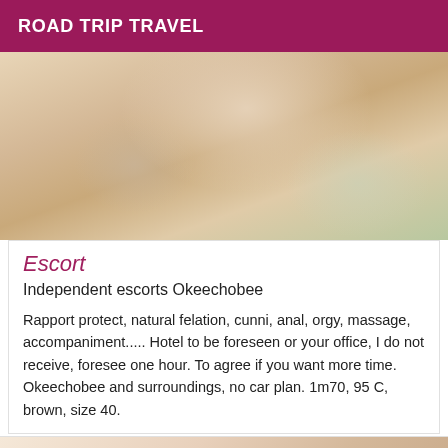ROAD TRIP TRAVEL
[Figure (photo): Close-up photo of a person's neck and chest area wearing a light-colored top]
Escort
Independent escorts Okeechobee
Rapport protect, natural felation, cunni, anal, orgy, massage, accompaniment..... Hotel to be foreseen or your office, I do not receive, foresee one hour. To agree if you want more time. Okeechobee and surroundings, no car plan. 1m70, 95 C, brown, size 40.
[Figure (photo): Partial close-up photo of a person's hand or arm area]